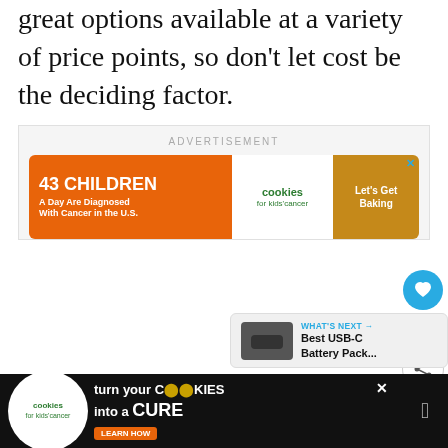great options available at a variety of price points, so don't let cost be the deciding factor.
[Figure (screenshot): Advertisement banner for 'Cookies for Kids Cancer' campaign. Orange left section reads '43 CHILDREN A Day Are Diagnosed With Cancer in the U.S.' Center oval shows 'cookies for kids cancer' logo. Right brown section reads 'Let's Get Baking'. Small X close button in top right.]
[Figure (screenshot): Side UI buttons: blue circle heart/like button, count showing '1', and white circle share button with share icon.]
[Figure (screenshot): What's Next card showing 'WHAT'S NEXT →' label in cyan, and text 'Best USB-C Battery Pack...' with a product image of a dark battery pack.]
[Figure (screenshot): Bottom black bar advertisement for 'Cookies for Kids Cancer': white circle logo on left, text 'turn your COOKIES into a CURE' with 'LEARN HOW' button. Speaker/sound icon on right.]